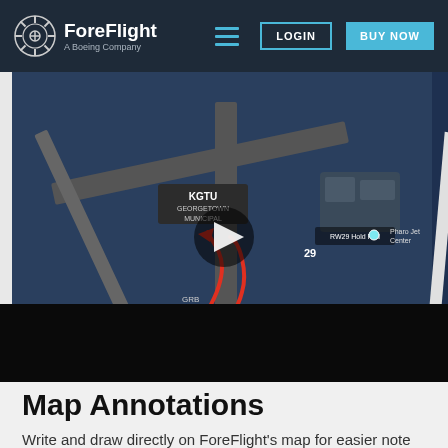ForeFlight - A Boeing Company | LOGIN | BUY NOW
[Figure (screenshot): Video thumbnail showing ForeFlight airport map with KGTU Georgetown Municipal airport diagram, featuring a red drawn annotation arrow/loop on runways, with a play button overlay in the center. Labels visible: KGTU, GEORGETOWN MUNICIPAL, RW29 Hold Pad, RW 16 Hold Pad, 29, Pharo Jet Center.]
Map Annotations
Write and draw directly on ForeFlight's map for easier note taking and much more. Tap the Annotations button on the left side of the screen to enter Drawing mode. Annotations